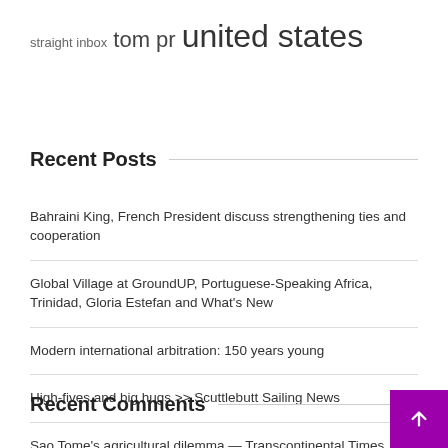straight inbox  tom pr  united states
Recent Posts
Bahraini King, French President discuss strengthening ties and cooperation
Global Village at GroundUP, Portuguese-Speaking Africa, Trinidad, Gloria Estefan and What's New
Modern international arbitration: 150 years young
High-fives and big hugs >> Scuttlebutt Sailing News
Sao Tome's agricultural dilemma — Transcontinental Times
Recent Comments